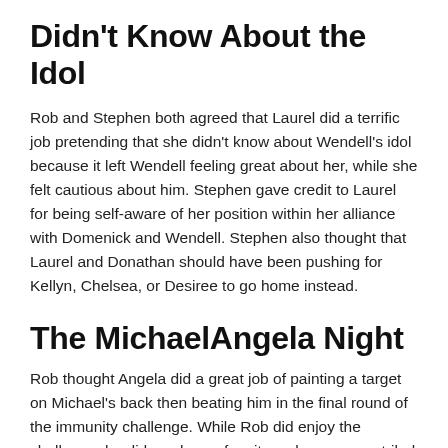Didn't Know About the Idol
Rob and Stephen both agreed that Laurel did a terrific job pretending that she didn't know about Wendell's idol because it left Wendell feeling great about her, while she felt cautious about him. Stephen gave credit to Laurel for being self-aware of her position within her alliance with Domenick and Wendell. Stephen also thought that Laurel and Donathan should have been pushing for Kellyn, Chelsea, or Desiree to go home instead.
The MichaelAngela Night
Rob thought Angela did a great job of painting a target on Michael's back then beating him in the final round of the immunity challenge. While Rob did enjoy the challenge, he did say he prefers it much more as a tribal challenge, where Stephen enjoyed the individual aspect of it. Rob, and his son Dominic, both did not see what was so gross about the “Mother of Pearl” (the cleat delicacy) in the challenge.